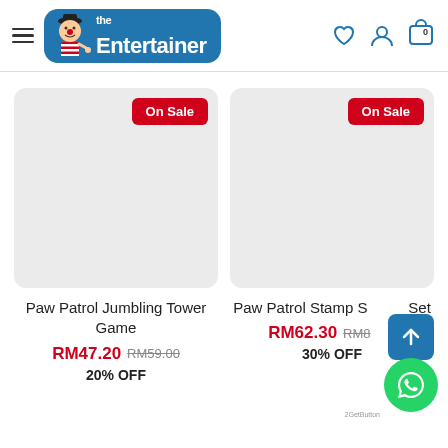[Figure (logo): The Entertainer toy store logo — blue rounded rectangle with clown mascot and white bold text reading 'the Entertainer']
[Figure (photo): Product card for Paw Patrol Jumbling Tower Game — grey placeholder image with On Sale badge]
Paw Patrol Jumbling Tower Game
RM47.20 RM59.00
20% OFF
[Figure (photo): Product card for Paw Patrol Stamp Station Set — grey placeholder image with On Sale badge]
Paw Patrol Stamp Station Set
RM62.30 RM89.00
30% OFF